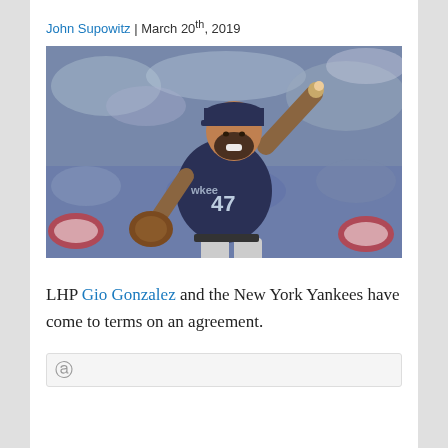John Supowitz | March 20th, 2019
[Figure (photo): Baseball pitcher in Milwaukee Brewers #47 navy uniform mid-pitch, throwing a baseball, wearing a brown glove, smiling, with a blurred crowd in the background]
LHP Gio Gonzalez and the New York Yankees have come to terms on an agreement.
[Figure (screenshot): Partially visible embedded card or tweet at the bottom of the page]